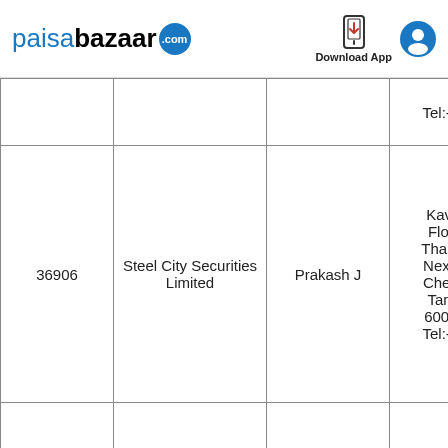paisabazaar.com — Download App
| ID | Company | Name | Address |
| --- | --- | --- | --- |
|  |  |  | Tel:-44... |
| 36906 | Steel City Securities Limited | Prakash J | Kavin Floor Tharan Next T Chenn Tamil 60004 Tel:-44... |
| 34744 | Steel City Securities Limited | Jaganathan P | Comm Door N Anna N Chenn Tamil 60010... |